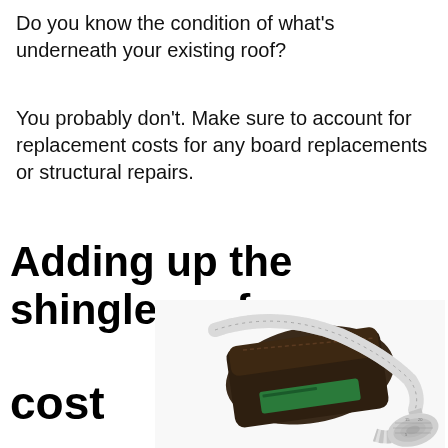Do you know the condition of what's underneath your existing roof?
You probably don't. Make sure to account for replacement costs for any board replacements or structural repairs.
Adding up the shingle roof cost
[Figure (photo): A dark brown leather wallet wrapped with a white measuring tape, with additional measuring tape coiled next to it on a white background.]